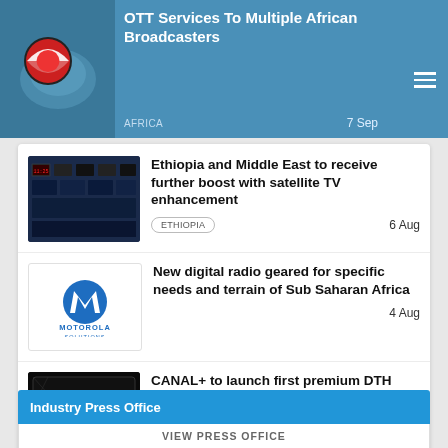[Figure (screenshot): Top blue banner with logo and article title about OTT Services to Multiple African Broadcasters, tagged AFRICA, dated 7 Sep]
OTT Services To Multiple African Broadcasters
AFRICA
7 Sep
[Figure (photo): Broadcast control room with multiple monitors showing video feeds]
Ethiopia and Middle East to receive further boost with satellite TV enhancement
ETHIOPIA
6 Aug
[Figure (logo): Motorola Solutions blue logo on white background]
New digital radio geared for specific needs and terrain of Sub Saharan Africa
4 Aug
[Figure (photo): Dark image of TV screen with colorful disc]
CANAL+ to launch first premium DTH platform over Ethiopia, broadcast from EUTELSAT 7C
ETHIOPIA
28 Jul
Industry Press Office
VIEW PRESS OFFICE